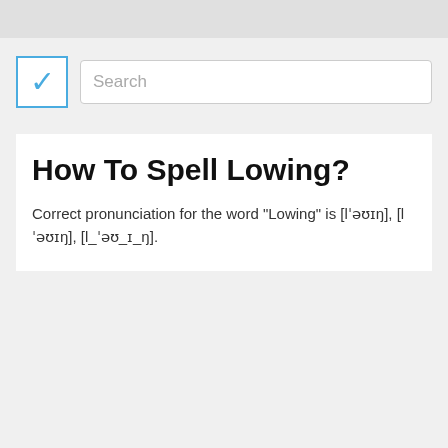[Figure (screenshot): Top bar with checkbox containing a blue checkmark and a search input box with placeholder text 'Search']
How To Spell Lowing?
Correct pronunciation for the word "Lowing" is [lˈəʊɪŋ], [lˈəʊɪŋ], [l_ˈəʊ_ɪ_ŋ].